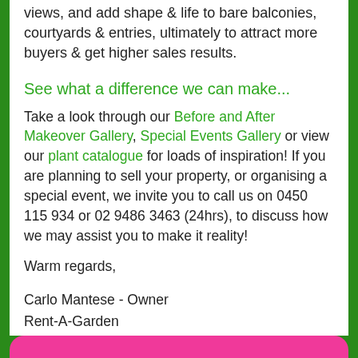views, and add shape & life to bare balconies, courtyards & entries, ultimately to attract more buyers & get higher sales results.
See what a difference we can make...
Take a look through our Before and After Makeover Gallery, Special Events Gallery or view our plant catalogue for loads of inspiration! If you are planning to sell your property, or organising a special event, we invite you to call us on 0450 115 934 or 02 9486 3463 (24hrs), to discuss how we may assist you to make it reality!
Warm regards,
Carlo Mantese - Owner
Rent-A-Garden